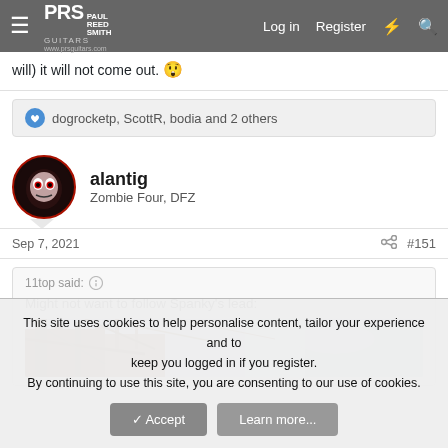PRS Paul Reed Smith Guitars — Log in | Register
will) it will not come out. 😮
👍 dogrocketp, ScottR, bodia and 2 others
alantig
Zombie Four, DFZ
Sep 7, 2021  #151
11top said:
Might not want to follow Spanky's lead:
[Figure (photo): Partial outdoor photo showing tree branches and sky]
This site uses cookies to help personalise content, tailor your experience and to keep you logged in if you register.
By continuing to use this site, you are consenting to our use of cookies.
[Accept] [Learn more...]